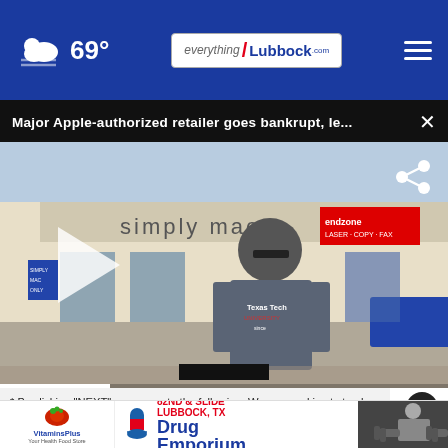69° everything / Lubbock .com
Major Apple-authorized retailer goes bankrupt, le...
[Figure (screenshot): Video screenshot showing a man in a Texas Tech University t-shirt standing in front of a Simply Mac store in a strip mall. A play button is visible on the left side of the video. A share icon is in the upper right.]
* By clicking "NEXT" you agree to the following: We use cookies to track your survey answers. If you would like to continue with this survey, please reac
[Figure (photo): Advertisement for Drug Emporium with VitaminsPlus - Your Health Food Store, 82nd & Slide, Lubbock, TX]